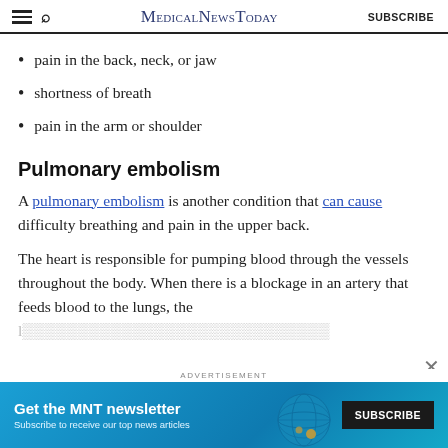MedicalNewsToday SUBSCRIBE
pain in the back, neck, or jaw
shortness of breath
pain in the arm or shoulder
Pulmonary embolism
A pulmonary embolism is another condition that can cause difficulty breathing and pain in the upper back.
The heart is responsible for pumping blood through the vessels throughout the body. When there is a blockage in an artery that feeds blood to the lungs, the [text continues]
[Figure (other): Advertisement banner for MNT newsletter with SUBSCRIBE button and globe graphic]